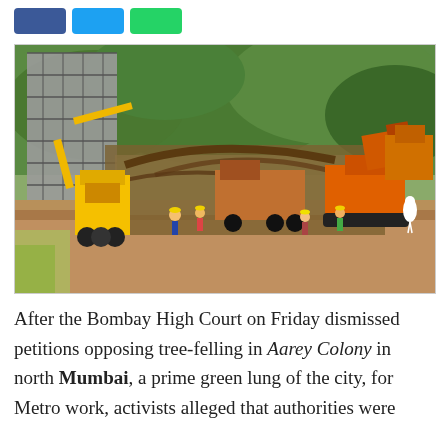[Figure (photo): Construction machinery including a yellow crane and orange excavators at Aarey Colony, Mumbai, with workers visible and a building under construction with scaffolding in the background surrounded by trees and felled foliage.]
After the Bombay High Court on Friday dismissed petitions opposing tree-felling in Aarey Colony in north Mumbai, a prime green lung of the city, for Metro work, activists alleged that authorities were